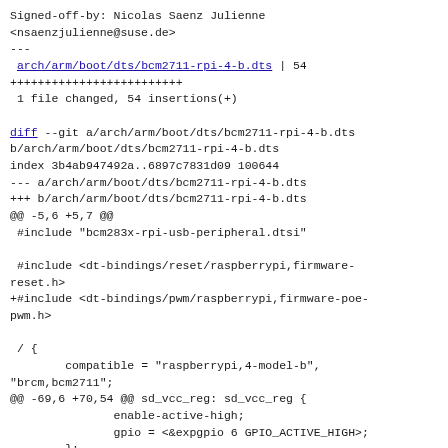Signed-off-by: Nicolas Saenz Julienne
<nsaenzjulienne@suse.de>
---
 arch/arm/boot/dts/bcm2711-rpi-4-b.dts | 54
+++++++++++++++++++++++++
 1 file changed, 54 insertions(+)

diff --git a/arch/arm/boot/dts/bcm2711-rpi-4-b.dts
b/arch/arm/boot/dts/bcm2711-rpi-4-b.dts
index 3b4ab947492a..6897c7831d09 100644
--- a/arch/arm/boot/dts/bcm2711-rpi-4-b.dts
+++ b/arch/arm/boot/dts/bcm2711-rpi-4-b.dts
@@ -5,6 +5,7 @@
 #include "bcm283x-rpi-usb-peripheral.dtsi"

 #include <dt-bindings/reset/raspberrypi,firmware-reset.h>
+#include <dt-bindings/pwm/raspberrypi,firmware-poe-pwm.h>

 / {
        compatible = "raspberrypi,4-model-b",
"brcm,bcm2711";
@@ -69,6 +70,54 @@ sd_vcc_reg: sd_vcc_reg {
               enable-active-high;
               gpio = <&expgpio 6 GPIO_ACTIVE_HIGH>;
        };
+
+       fan: pwm-fan {
+               compatible = "pwm-fan";